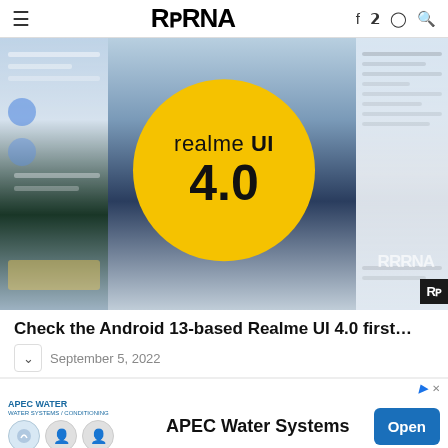≡ RRRNA f twitter instagram search
[Figure (screenshot): Hero image showing Realme UI 4.0 promotional graphic with a large yellow circle containing 'realme UI 4.0' text, overlaid on blurred smartphone UI screenshots]
Check the Android 13-based Realme UI 4.0 first…
September 5, 2022
[Figure (screenshot): Advertisement banner for APEC Water Systems with logo, product icons, company name, and Open button]